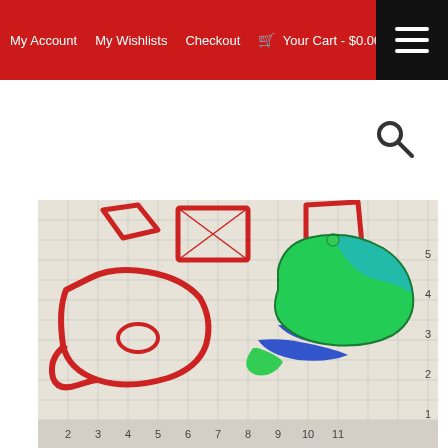My Account   My Wishlists   Checkout   🛒 Your Cart - $0.00
JBCookieCutters
[Figure (photo): Photo of baseball cap cookie cutters placed on a measurement grid. Red plastic cookie cutter outlines of a baseball cap shape and separate pieces are shown on the left. A colorful completed cookie decorated in green, teal, and blue to look like a baseball cap is shown on the right. The grid shows measurements from 2 to 11 inches horizontally.]